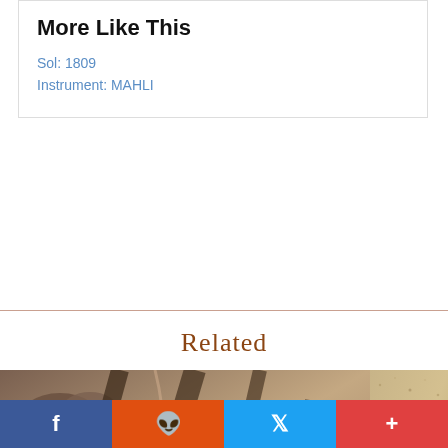More Like This
Sol: 1809
Instrument: MAHLI
Related
[Figure (photo): Mars surface image taken by Curiosity rover MAHLI instrument showing rocky terrain with shadows, sepia/brown toned]
[Figure (photo): Partial view of sandy/grainy terrain surface, tan colored, partially cut off at right edge]